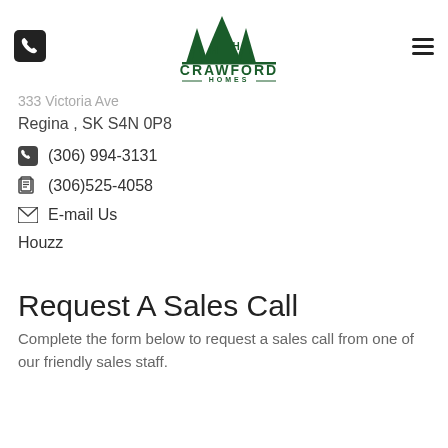[Figure (logo): Crawford Homes logo with green mountain/house silhouette above the text CRAWFORD HOMES]
333 Victoria Ave
Regina , SK S4N 0P8
☎ (306) 994-3131
🖨 (306)525-4058
✉ E-mail Us
Houzz
Request A Sales Call
Complete the form below to request a sales call from one of our friendly sales staff.